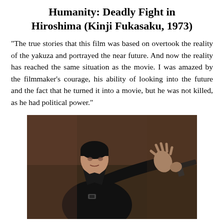Humanity: Deadly Fight in Hiroshima (Kinji Fukasaku, 1973)
"The true stories that this film was based on overtook the reality of the yakuza and portrayed the near future. And now the reality has reached the same situation as the movie. I was amazed by the filmmaker's courage, his ability of looking into the future and the fact that he turned it into a movie, but he was not killed, as he had political power."
[Figure (photo): A man in dark clothing facing the camera with his hand raised outward, with another person's hand pointing a gun toward him, in a dramatic scene.]